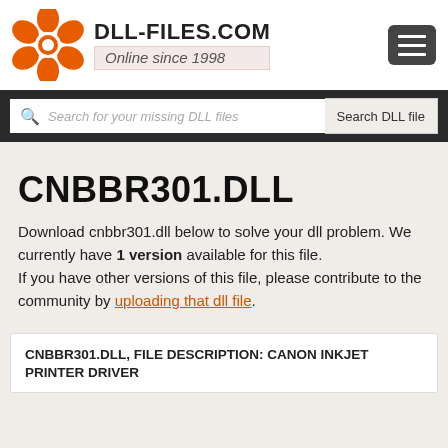[Figure (logo): DLL-FILES.COM logo with orange gear/flower icon and site name with 'Online since 1998' tagline]
Search for your missing DLL files
CNBBR301.DLL
Download cnbbr301.dll below to solve your dll problem. We currently have 1 version available for this file.
If you have other versions of this file, please contribute to the community by uploading that dll file.
CNBBR301.DLL, FILE DESCRIPTION: CANON INKJET PRINTER DRIVER